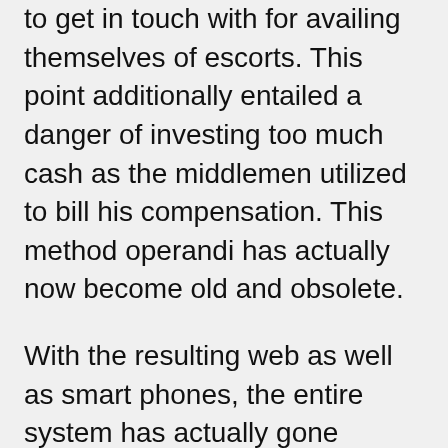to get in touch with for availing themselves of escorts. This point additionally entailed a danger of investing too much cash as the middlemen utilized to bill his compensation. This method operandi has actually now become old and obsolete.
With the resulting web as well as smart phones, the entire system has actually gone through an excellent adjustment. All the Call Ladies in Maharajganj are educated computer friendly. They all are making use of mobile phones. WhatsApp number has actually become the very best setting of interaction in between them as well as the clients.
Currently, there is no treatment of any type